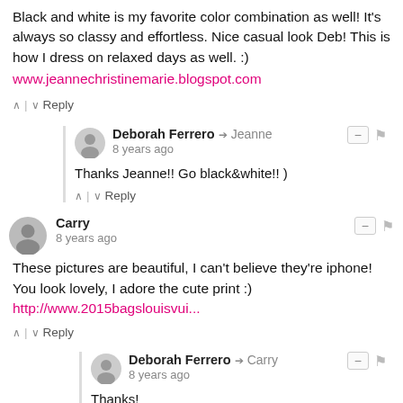Black and white is my favorite color combination as well! It's always so classy and effortless. Nice casual look Deb! This is how I dress on relaxed days as well. :)
www.jeannechristinemarie.blogspot.com
↑ | ↓  Reply
Deborah Ferrero → Jeanne
8 years ago
Thanks Jeanne!! Go black&white!! )
↑ | ↓  Reply
Carry
8 years ago
These pictures are beautiful, I can't believe they're iphone! You look lovely, I adore the cute print :)
http://www.2015bagslouisvui...
↑ | ↓  Reply
Deborah Ferrero → Carry
8 years ago
Thanks!